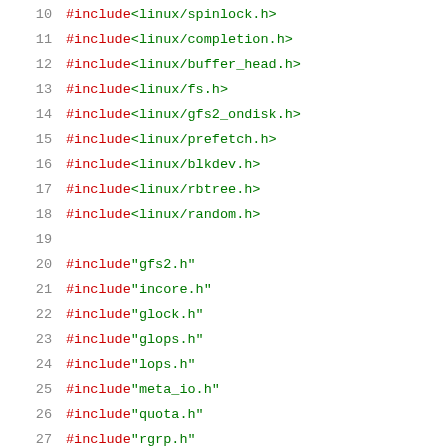10   #include <linux/spinlock.h>
11   #include <linux/completion.h>
12   #include <linux/buffer_head.h>
13   #include <linux/fs.h>
14   #include <linux/gfs2_ondisk.h>
15   #include <linux/prefetch.h>
16   #include <linux/blkdev.h>
17   #include <linux/rbtree.h>
18   #include <linux/random.h>
19
20   #include "gfs2.h"
21   #include "incore.h"
22   #include "glock.h"
23   #include "glops.h"
24   #include "lops.h"
25   #include "meta_io.h"
26   #include "quota.h"
27   #include "rgrp.h"
28   #include "super.h"
29   #include "trans.h"
30   #include "util.h"
31   #include "log.h"